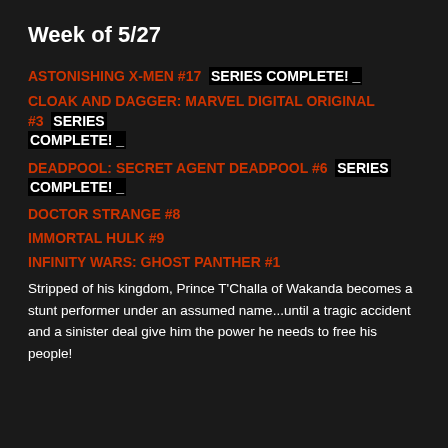Week of 5/27
ASTONISHING X-MEN #17  SERIES COMPLETE! _
CLOAK AND DAGGER: MARVEL DIGITAL ORIGINAL #3  SERIES COMPLETE! _
DEADPOOL: SECRET AGENT DEADPOOL #6  SERIES COMPLETE! _
DOCTOR STRANGE #8
IMMORTAL HULK #9
INFINITY WARS: GHOST PANTHER #1
Stripped of his kingdom, Prince T'Challa of Wakanda becomes a stunt performer under an assumed name...until a tragic accident and a sinister deal give him the power he needs to free his people!